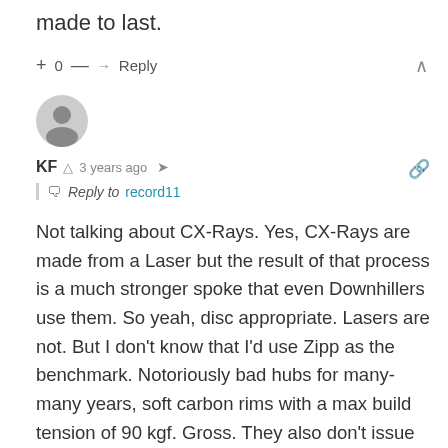made to last.
+ 0 — → Reply
KF  3 years ago  Reply to record11
Not talking about CX-Rays. Yes, CX-Rays are made from a Laser but the result of that process is a much stronger spoke that even Downhillers use them. So yeah, disc appropriate. Lasers are not. But I don't know that I'd use Zipp as the benchmark. Notoriously bad hubs for many-many years, soft carbon rims with a max build tension of 90 kgf. Gross. They also don't issue recalls